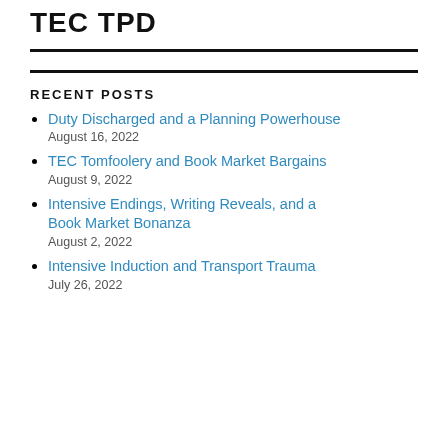TEC TPD
RECENT POSTS
Duty Discharged and a Planning Powerhouse
August 16, 2022
TEC Tomfoolery and Book Market Bargains
August 9, 2022
Intensive Endings, Writing Reveals, and a Book Market Bonanza
August 2, 2022
Intensive Induction and Transport Trauma
July 26, 2022